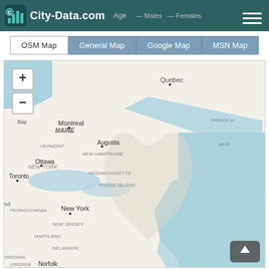City-Data.com — Age — Males — Females
OSM Map | General Map | Google Map | MSN Map
[Figure (map): Interactive map of northeastern United States and southeastern Canada showing states/provinces including Quebec, Maine, Vermont, New Hampshire, New York, Massachusetts, Rhode Island, New Jersey, Pennsylvania, Maryland, Delaware, Virginia, and cities Ottawa, Montreal, Augusta, Toronto, New York, Norfolk. Map includes zoom +/- controls and a scroll-up button.]